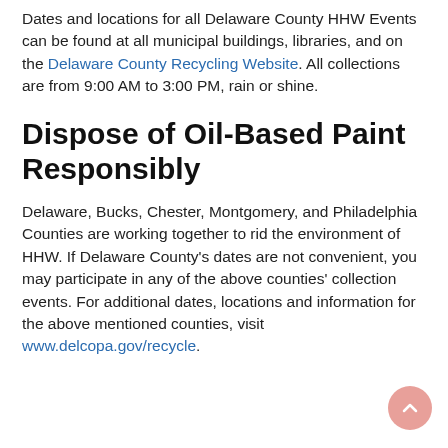Dates and locations for all Delaware County HHW Events can be found at all municipal buildings, libraries, and on the Delaware County Recycling Website. All collections are from 9:00 AM to 3:00 PM, rain or shine.
Dispose of Oil-Based Paint Responsibly
Delaware, Bucks, Chester, Montgomery, and Philadelphia Counties are working together to rid the environment of HHW. If Delaware County's dates are not convenient, you may participate in any of the above counties' collection events. For additional dates, locations and information for the above mentioned counties, visit www.delcopa.gov/recycle.